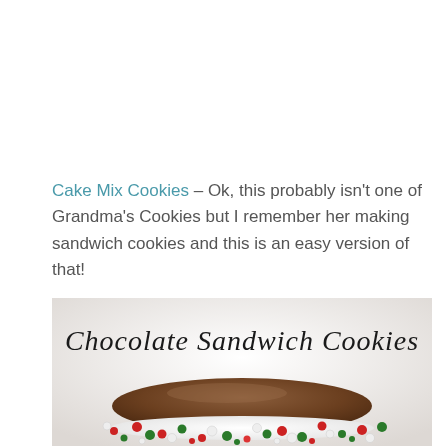Cake Mix Cookies – Ok, this probably isn't one of Grandma's Cookies but I remember her making sandwich cookies and this is an easy version of that!
[Figure (photo): Photo of a chocolate sandwich cookie with white frosting and red, green, and white sprinkle pearls around the edge. Text overlay reads 'Chocolate Sandwich Cookies' in elegant cursive script.]